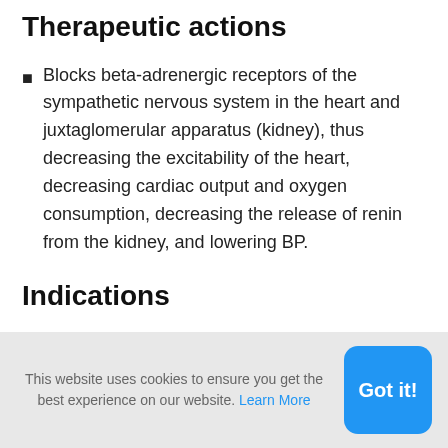Therapeutic actions
Blocks beta-adrenergic receptors of the sympathetic nervous system in the heart and juxtaglomerular apparatus (kidney), thus decreasing the excitability of the heart, decreasing cardiac output and oxygen consumption, decreasing the release of renin from the kidney, and lowering BP.
Indications
This website uses cookies to ensure you get the best experience on our website. Learn More